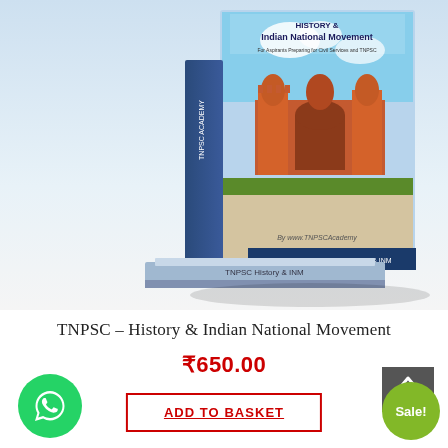[Figure (photo): Product image of TNPSC History & Indian National Movement book showing book cover with Red Fort illustration, stacked books]
TNPSC – History & Indian National Movement
₹650.00
ADD TO BASKET
[Figure (illustration): WhatsApp contact button (green circle with phone icon)]
[Figure (illustration): Scroll to top button (grey rectangle with arrows)]
[Figure (illustration): Sale! badge (green circle)]